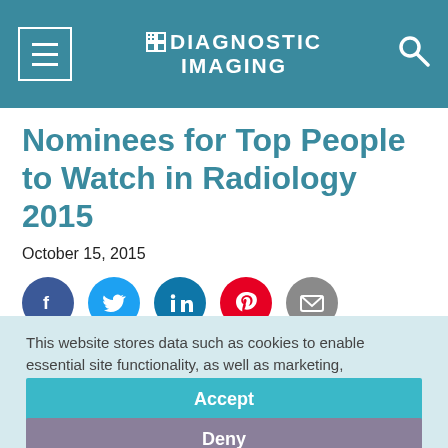DIAGNOSTIC IMAGING
Nominees for Top People to Watch in Radiology 2015
October 15, 2015
[Figure (infographic): Social sharing icons row: Facebook (blue), Twitter (light blue), LinkedIn (dark blue), Pinterest (red), Email (gray)]
Who deserves the honors?
This website stores data such as cookies to enable essential site functionality, as well as marketing, personalization, and analytics. Cookie Policy
Accept
Deny